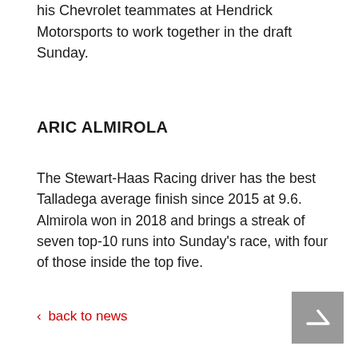his Chevrolet teammates at Hendrick Motorsports to work together in the draft Sunday.
ARIC ALMIROLA
The Stewart-Haas Racing driver has the best Talladega average finish since 2015 at 9.6. Almirola won in 2018 and brings a streak of seven top-10 runs into Sunday's race, with four of those inside the top five.
< back to news